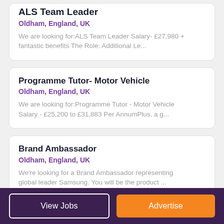ALS Team Leader
Oldham, England, UK
We are looking for:ALS Team Leader Salary- £27,980 + fantastic benefits The Role: Additional Le...
Programme Tutor- Motor Vehicle
Oldham, England, UK
We are looking for:Programme Tutor - Motor Vehicle Salary - £25,200 to £31,883 Per AnnumPlus, a g...
Brand Ambassador
Oldham, England, UK
We're looking for a Brand Ambassador representing global leader Samsung. You will be the product ...
View Jobs | Advertise